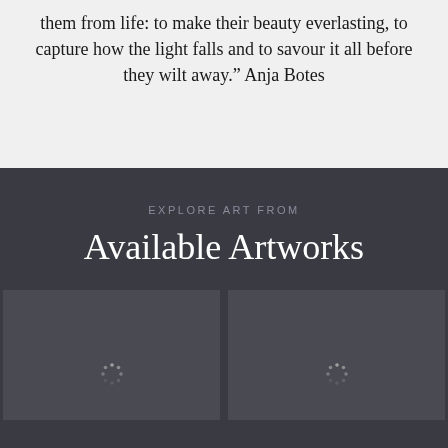them from life: to make their beauty everlasting, to capture how the light falls and to savour it all before they wilt away.” Anja Botes
EXPLORE ART FROM
Available Artworks
[Figure (other): Artwork loading placeholder card with spinner dots, dark grey background]
[Figure (other): Artwork loading placeholder card with spinner dots, dark grey background]